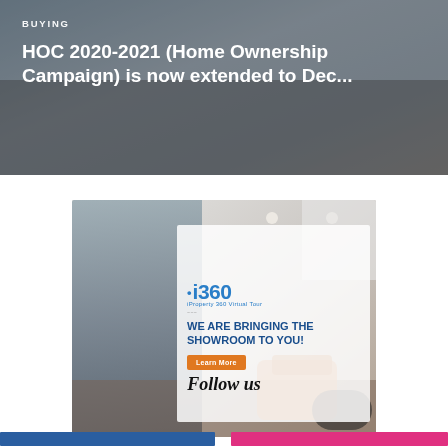[Figure (photo): Top banner showing a couple relaxing on a sofa, with dark overlay and white text overlay for a real estate article about HOC 2020-2021 Home Ownership Campaign]
BUYING
HOC 2020-2021 (Home Ownership Campaign) is now extended to Dec...
[Figure (photo): Advertisement banner for iProperty 360 Virtual Tour (i360) featuring a couple pointing at something in an interior space, with overlay text: WE ARE BRINGING THE SHOWROOM TO YOU! and a Learn More button]
Follow us